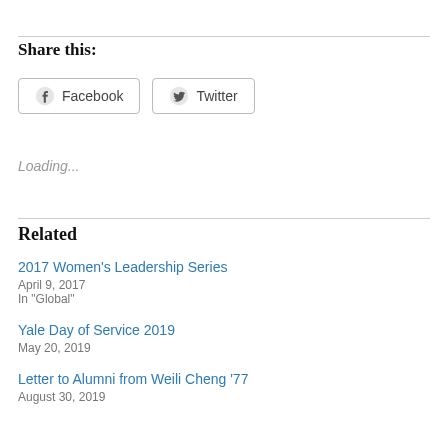Share this:
Facebook
Twitter
Loading...
Related
2017 Women's Leadership Series
April 9, 2017
In "Global"
Yale Day of Service 2019
May 20, 2019
Letter to Alumni from Weili Cheng ’77
August 30, 2019